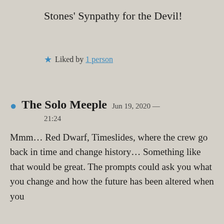Stones' Synpathy for the Devil!
★ Liked by 1 person
The Solo Meeple  Jun 19, 2020 — 21:24
Mmm… Red Dwarf, Timeslides, where the crew go back in time and change history… Something like that would be great. The prompts could ask you what you change and how the future has been altered when you